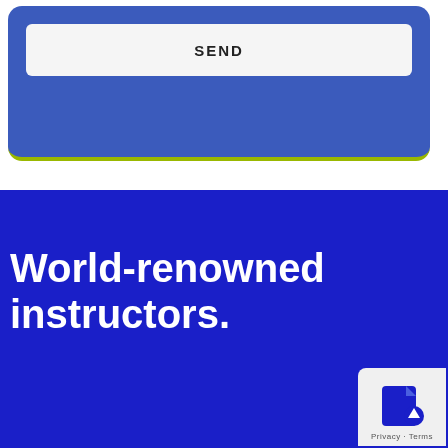SEND
World-renowned instructors.
[Figure (other): Scroll-to-top widget button in bottom-right corner with arrow icon and Privacy/Terms text]